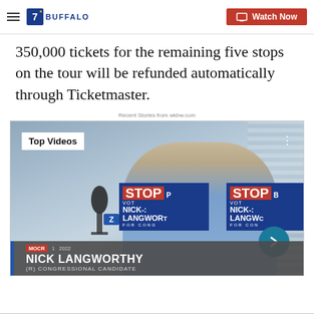7 BUFFALO | Watch Now
350,000 tickets for the remaining five stops on the tour will be refunded automatically through Ticketmaster.
Recent Stories from wkbw.com
[Figure (screenshot): Video thumbnail showing Nick Langworthy, (R) Congressional Candidate, speaking in front of campaign signs reading STOP / VOTE NICK LANGWORTHY FOR CONGRESS. Top Videos label in upper left corner. Arrow navigation button on right side.]